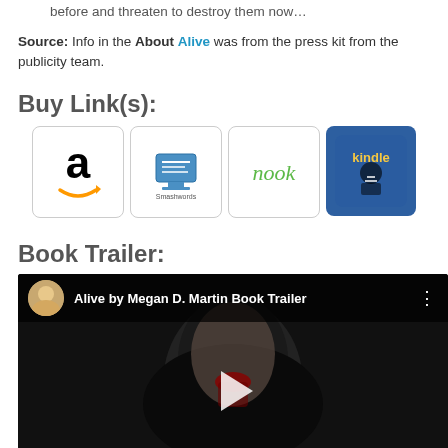the fate that awaits that ruined them in the before and threaten to destroy them now...
Source: Info in the About Alive was from the press kit from the publicity team.
Buy Link(s):
[Figure (other): Four retailer icons: Amazon, Smashwords, Nook, Kindle]
Book Trailer:
[Figure (screenshot): YouTube video embed showing 'Alive by Megan D. Martin Book Trailer' with a dark horror image of a woman with blood on her face]